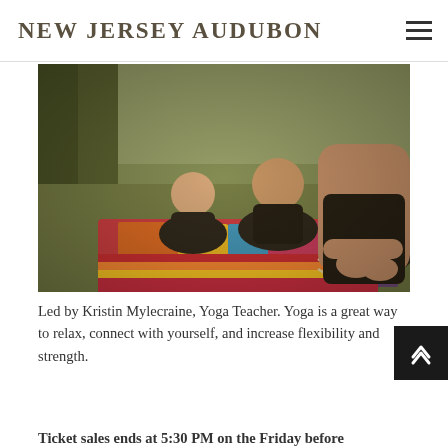NEW JERSEY AUDUBON
[Figure (photo): People practicing yoga outdoors on colorful mats, seated in lotus position on grass]
Led by Kristin Mylecraine, Yoga Teacher. Yoga is a great way to relax, connect with yourself, and increase flexibility and strength.
Ticket sales ends at 5:30 PM on the Friday before